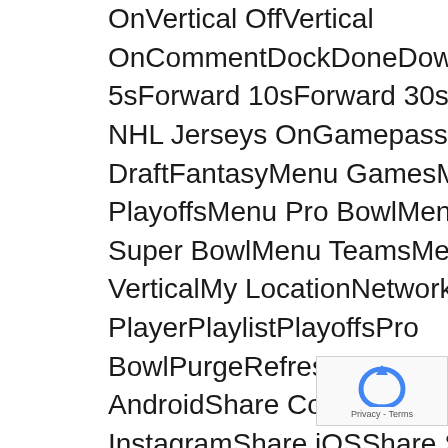OnVertical OffVertical OnCommentDockDoneDownloadDraftFantasyFilterForward 5sForward 10sForward 30sFull Screen OffFull Screen Wholesale NHL Jerseys OnGamepassGamesInsightsKeyLeaveLiveCombine DraftFantasyMenu GamesMenu NetworkMenu NewsMenu PlayoffsMenu Pro BowlMenu ShopMenu StandingsMenu StatsMenu Super BowlMenu TeamsMenu TicketsMenuMore HorizontalMore VerticalMy LocationNetworkNewsPauseplayMultiple PlayersSingle PlayerPlaylistPlayoffsPro BowlPurgeRefreshRemoveReplaySearchSettingsShare AndroidShare Copy URLShare EmailShare FacebookShare InstagramShare iOSShare SnapchatShare TwitterSkip NextSkip PreviousStandingsStarStatsSwapTeamsTicketsVideoVisibility OffVisibility OnVolume HiVolume LowVolume MediumVolume MuteWarningWebsIt never reached that point. The defeat meant Pa...
[Figure (other): reCAPTCHA widget showing a circular arrow icon and 'Privacy - Terms' label]